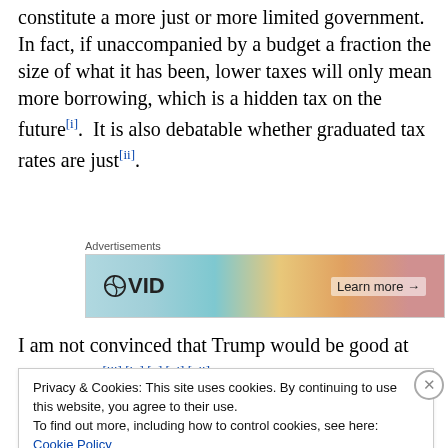constitute a more just or more limited government.  In fact, if unaccompanied by a budget a fraction the size of what it has been, lower taxes will only mean more borrowing, which is a hidden tax on the future[i].  It is also debatable whether graduated tax rates are just[ii].
[Figure (other): Advertisement banner with WordPress VID logo and 'Learn more' button on a colorful background]
I am not convinced that Trump would be good at diplomacy[iii],[iv],[v],[vi],[vii].  He may be convinced that he
Privacy & Cookies: This site uses cookies. By continuing to use this website, you agree to their use.
To find out more, including how to control cookies, see here: Cookie Policy